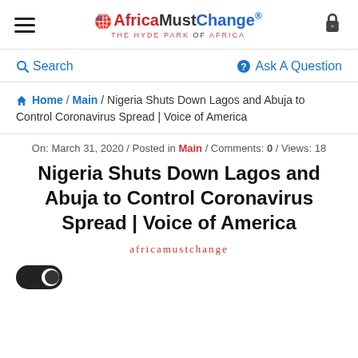AfricaMustChange® — THE HYDE PARK OF AFRICA
Search | Ask A Question
Home / Main / Nigeria Shuts Down Lagos and Abuja to Control Coronavirus Spread | Voice of America
On: March 31, 2020 / Posted in Main / Comments: 0 / Views: 18
Nigeria Shuts Down Lagos and Abuja to Control Coronavirus Spread | Voice of America
africamustchange